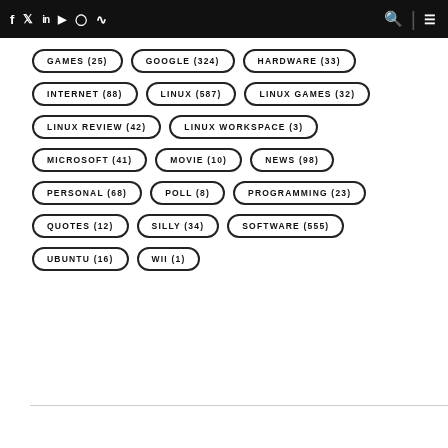Social media icons (Facebook, Twitter, LinkedIn, YouTube, Instagram, RSS), Search, Menu
GAMES (25)
GOOGLE (324)
HARDWARE (33)
INTERNET (88)
LINUX (587)
LINUX GAMES (32)
LINUX REVIEW (42)
LINUX WORKSPACE (3)
MICROSOFT (41)
MOVIE (10)
NEWS (98)
PERSONAL (68)
POLL (8)
PROGRAMMING (23)
QUOTES (12)
SILLY (34)
SOFTWARE (555)
UBUNTU (16)
WII (1)